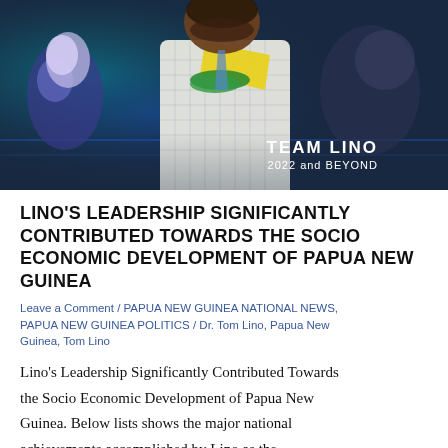[Figure (photo): A man in a white checked shirt wearing a yellow sash and green floral lei, standing among others with a blue/green atmospheric background. Text overlay reads 'TEAM LINO 2022 and BEYOND'.]
LINO'S LEADERSHIP SIGNIFICANTLY CONTRIBUTED TOWARDS THE SOCIO ECONOMIC DEVELOPMENT OF PAPUA NEW GUINEA
Leave a Comment / PAPUA NEW GUINEA NATIONAL NEWS, PAPUA NEW GUINEA POLITICS / Dr. Tom Lino, Papua New Guinea, Tom Lino
Lino's Leadership Significantly Contributed Towards the Socio Economic Development of Papua New Guinea. Below lists shows the major national achievements accomplished by Lino as the...